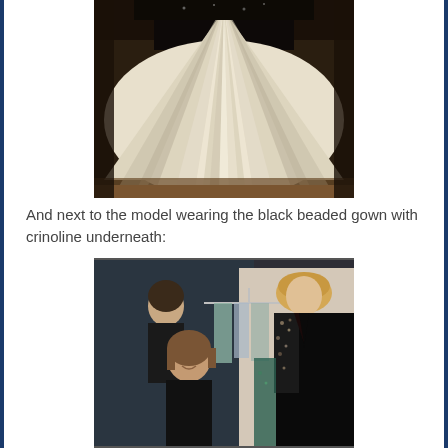[Figure (photo): Close-up of a white/cream voluminous tulle crinoline skirt fanning out widely, photographed from below/front in a dimly lit room with wooden flooring visible at the bottom.]
And next to the model wearing the black beaded gown with crinoline underneath:
[Figure (photo): Backstage photo showing a woman with brown bob hair smiling at the camera in a black outfit, a model in the background with dark hair, and on the right a model/mannequin wearing a black heavily beaded/sequined gown with embellished sleeves. Clothing rack with garments visible in the background.]